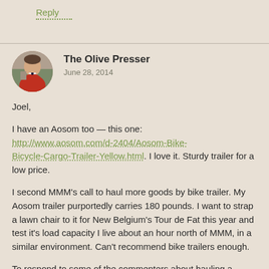Reply
The Olive Presser
June 28, 2014
Joel,

I have an Aosom too — this one: http://www.aosom.com/d-2404/Aosom-Bike-Bicycle-Cargo-Trailer-Yellow.html. I love it. Sturdy trailer for a low price.

I second MMM's call to haul more goods by bike trailer. My Aosom trailer purportedly carries 180 pounds. I want to strap a lawn chair to it for New Belgium's Tour de Fat this year and test it's load capacity I live about an hour north of MMM, in a similar environment. Can't recommend bike trailers enough.

To respond to some of the commenters about hauling a heavy trailer, stopping a bike trailer loaded with several boxes of wine, groceries, and a vacuum cleaner is not a difficult task, and towing it is not difficult either, especially if your bike has a set of gears. My bike is a single speed, and it's still